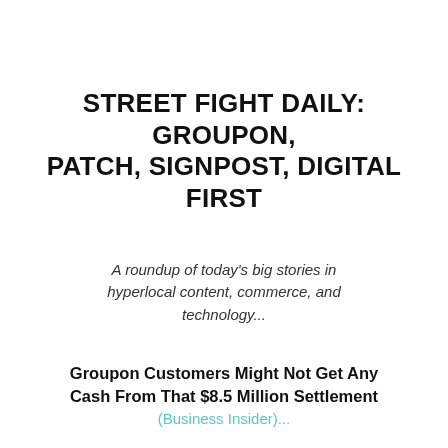STREET FIGHT DAILY: GROUPON, PATCH, SIGNPOST, DIGITAL FIRST
A roundup of today's big stories in hyperlocal content, commerce, and technology...
Groupon Customers Might Not Get Any Cash From That $8.5 Million Settlement
(Business Insider)...